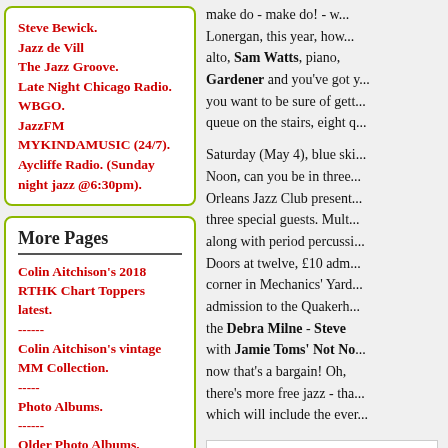Steve Bewick.
Jazz de Vill
The Jazz Groove.
Late Night Chicago Radio.
WBGO.
JazzFM
MYKINDAMUSIC (24/7).
Aycliffe Radio. (Sunday night jazz @6:30pm).
More Pages
Colin Aitchison's 2018 RTHK Chart Toppers latest.
------
Colin Aitchison's vintage MM Collection.
-----
Photo Albums.
------
Older Photo Albums.
-----
Groove Depository - Rare jazz vinyl.
------
make do - make do! - w... Lonergan, this year, how... alto, Sam Watts, piano, Gardener and you've got y... you want to be sure of gett... queue on the stairs, eight q...
Saturday (May 4), blue ski... Noon, can you be in three... Orleans Jazz Club present... three special guests. Mult... along with period percussi... Doors at twelve, £10 adm... corner in Mechanics' Yard... admission to the Quakerh... the Debra Milne - Steve... with Jamie Toms' Not No... now that's a bargain! Oh,... there's more free jazz - tha... which will include the ever...
[Figure (illustration): BORN IN THE 80S Jazz Festival promotional poster/logo with colorful geometric shapes in pink, teal, and yellow on white background]